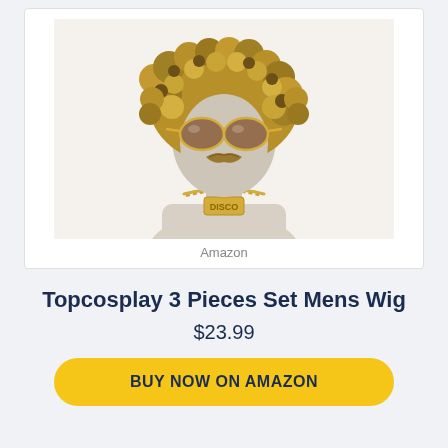[Figure (photo): A mannequin head wearing a curly blonde/brown afro wig, gold aviator sunglasses, a brown horseshoe mustache, and a gold chain necklace with 'DISCO' pendant, shown against a white background. Labeled 'Amazon' below.]
Amazon
Topcosplay 3 Pieces Set Mens Wig
$23.99
BUY NOW ON AMAZON